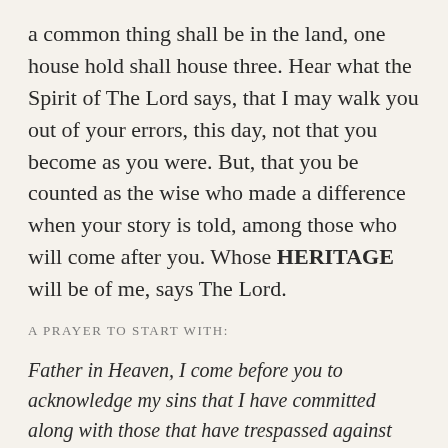a common thing shall be in the land, one house hold shall house three. Hear what the Spirit of The Lord says, that I may walk you out of your errors, this day, not that you become as you were. But, that you be counted as the wise who made a difference when your story is told, among those who will come after you. Whose HERITAGE will be of me, says The Lord.
A PRAYER TO START WITH:
Father in Heaven, I come before you to acknowledge my sins that I have committed along with those that have trespassed against you in this great nation, that the people were given stewardship to manage, so many years ago,